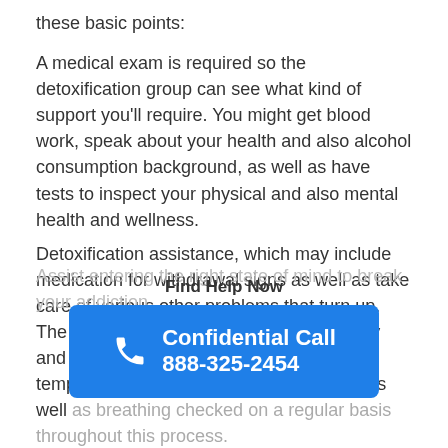these basic points:
A medical exam is required so the detoxification group can see what kind of support you'll require. You might get blood work, speak about your health and also alcohol consumption background, as well as have tests to inspect your physical and also mental health and wellness.
Detoxification assistance, which may include medication for withdrawal signs as well as take care of various other problems that turn up. The objective is to help you obtain mentally and literally steady. You might have your temperature, blood pressure, heart price, as well as breathing checked on a regular basis throughout this process.
Assist entering the right state of mind to break your addiction.
Find Help Now
Confidential Call 888-325-2454